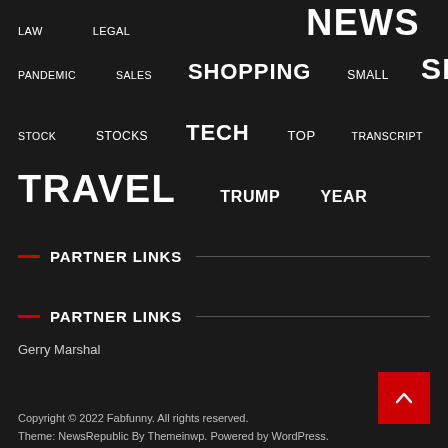LAW  LEGAL  NEWS
PANDEMIC  SALES  SHOPPING  SMALL  SPORTS
STOCK  STOCKS  TECH  TOP  TRANSCRIPT
TRAVEL  TRUMP  YEAR
PARTNER LINKS
PARTNER LINKS
Gerry Marshal
Copyright © 2022 Fabfunny. All rights reserved.
Theme: NewsRepublic By Themeinwp. Powered by WordPress.